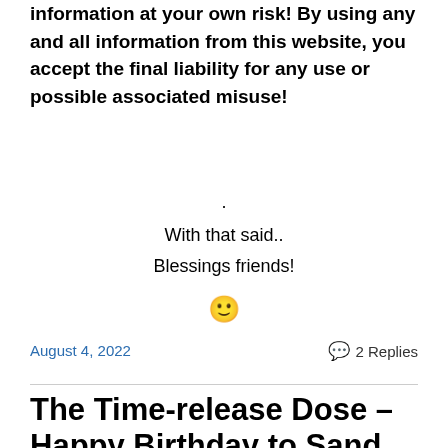information at your own risk! By using any and all information from this website, you accept the final liability for any use or possible associated misuse!
.
With that said..
Blessings friends!
🙂
August 4, 2022
2 Replies
The Time-release Dose – Happy Birthday to Sand Key lighthouse, July 20, 1853!